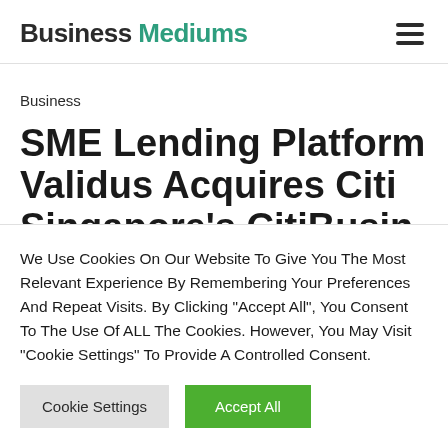Business Mediums
Business
SME Lending Platform Validus Acquires Citi Singapore's CitiBusiness...
We Use Cookies On Our Website To Give You The Most Relevant Experience By Remembering Your Preferences And Repeat Visits. By Clicking "Accept All", You Consent To The Use Of ALL The Cookies. However, You May Visit "Cookie Settings" To Provide A Controlled Consent.
Cookie Settings | Accept All